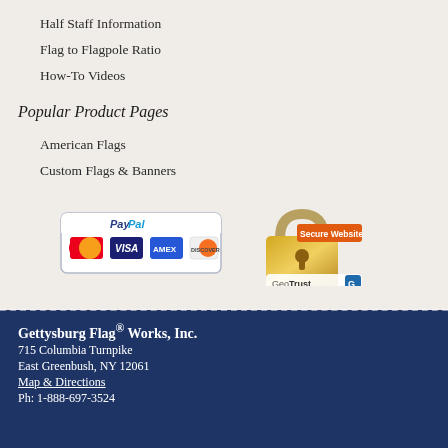Half Staff Information
Flag to Flagpole Ratio
How-To Videos
Popular Product Pages
American Flags
Custom Flags & Banners
[Figure (logo): PayPal payment badge showing PayPal logo with MasterCard, Visa, Amex, and Discover card icons]
[Figure (logo): GeoTrust Secure Website badge with padlock icon]
Gettysburg Flag® Works, Inc.
715 Columbia Turnpike
East Greenbush, NY 12061
Map & Directions
Ph: 1-888-697-3524